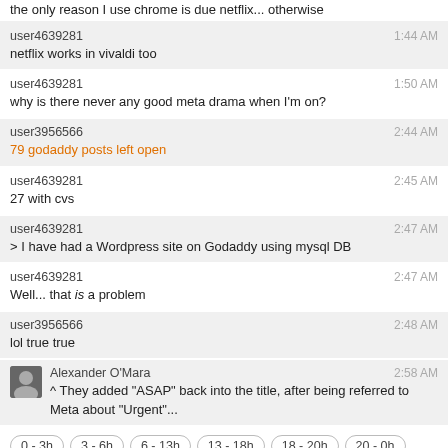the only reason I use chrome is due netflix... otherwise
user4639281 | 1:44 AM
netflix works in vivaldi too
user4639281 | 1:50 AM
why is there never any good meta drama when I'm on?
user3956566 | 2:44 AM
79 godaddy posts left open
user4639281 | 2:45 AM
27 with cvs
user4639281 | 2:47 AM
> I have had a Wordpress site on Godaddy using mysql DB
user4639281 | 2:47 AM
Well... that is a problem
user3956566 | 2:48 AM
lol true true
Alexander O'Mara | 2:58 AM
^ They added "ASAP" back into the title, after being referred to Meta about "Urgent"...
0 - 3h | 3 - 6h | 6 - 13h | 13 - 18h | 18 - 20h | 20 - 0h
← prev day | next day → | last day »